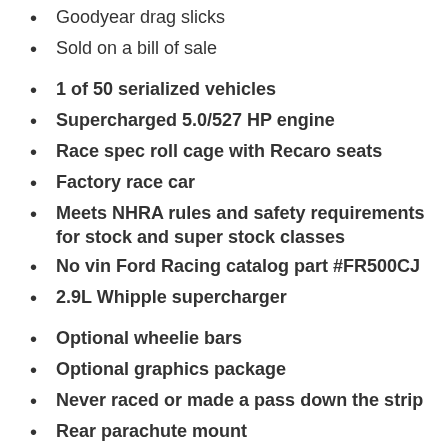Goodyear drag slicks
Sold on a bill of sale
1 of 50 serialized vehicles
Supercharged 5.0/527 HP engine
Race spec roll cage with Recaro seats
Factory race car
Meets NHRA rules and safety requirements for stock and super stock classes
No vin Ford Racing catalog part #FR500CJ
2.9L Whipple supercharger
Optional wheelie bars
Optional graphics package
Never raced or made a pass down the strip
Rear parachute mount
3-speed transmission
Goodyear drag slicks
Sold on a bill of sale